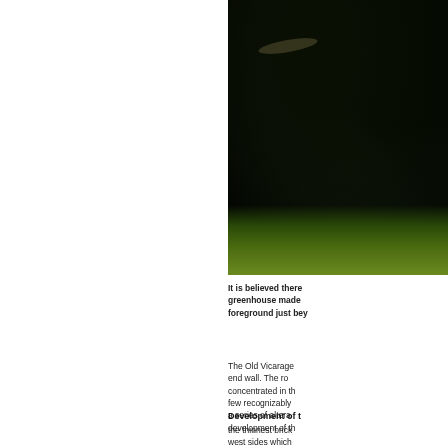[Figure (photo): A dark photograph showing dense trees and foliage with grass visible in the foreground, predominantly dark greens and blacks.]
It is believed there greenhouse made foreground just bey
The Old Vicarage end wall. The ro concentrated in th few recognizably a series of altera development of th
Development of t
the thinnest brick west sides which